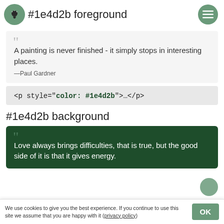#1e4d2b foreground
A painting is never finished - it simply stops in interesting places.
—Paul Gardner
<p style="color: #1e4d2b">…</p>
#1e4d2b background
Love always brings difficulties, that is true, but the good side of it is that it gives energy.
We use cookies to give you the best experience. If you continue to use this site we assume that you are happy with it (privacy policy)